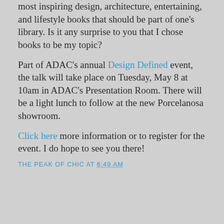most inspiring design, architecture, entertaining, and lifestyle books that should be part of one's library. Is it any surprise to you that I chose books to be my topic?
Part of ADAC's annual Design Defined event, the talk will take place on Tuesday, May 8 at 10am in ADAC's Presentation Room. There will be a light lunch to follow at the new Porcelanosa showroom.
Click here more information or to register for the event. I do hope to see you there!
THE PEAK OF CHIC AT 6:49 AM